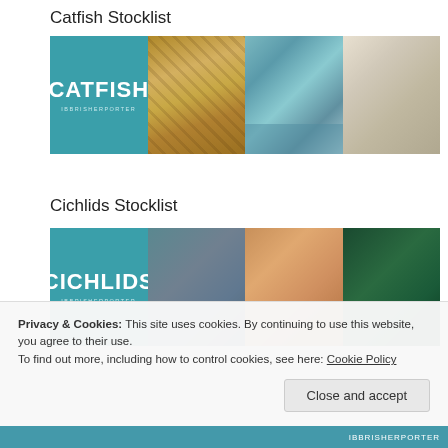Catfish Stocklist
[Figure (photo): Horizontal strip of four images: teal tile with CATFISH label, catfish specimens in tank, striped catfish held in hand, catfish on dark substrate]
Cichlids Stocklist
[Figure (photo): Horizontal strip of four images: teal tile with CICHLIDS label, cichlid fish in hand, orange/yellow cichlid in hand, cichlid fish in green bucket/hand]
Privacy & Cookies: This site uses cookies. By continuing to use this website, you agree to their use.
To find out more, including how to control cookies, see here: Cookie Policy
Close and accept